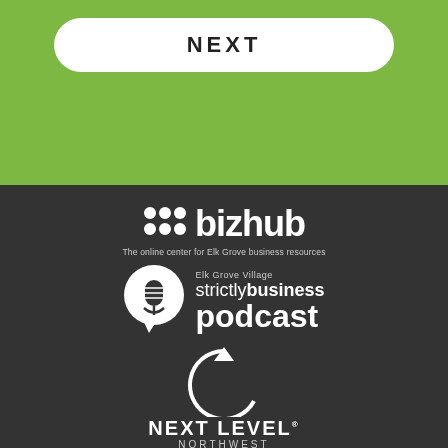[Figure (logo): NEXT button in white rounded rectangle on green background]
[Figure (logo): bizhub logo - decorative dots followed by 'bizhub' text with tagline 'The online center for Elk Grove business resources']
[Figure (logo): Elk Grove Village strictly business podcast logo - microphone icon in speech bubble with text]
[Figure (logo): Next Level Northwest logo - circular arrow with play icon above text NEXT LEVEL NORTHWEST]
[Figure (logo): Circular B logo at bottom, partially visible]